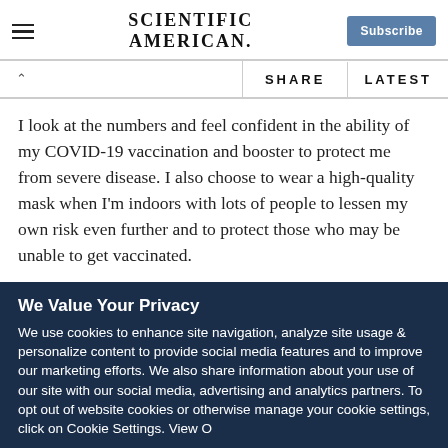Scientific American — Subscribe
I look at the numbers and feel confident in the ability of my COVID-19 vaccination and booster to protect me from severe disease. I also choose to wear a high-quality mask when I'm indoors with lots of people to lessen my own risk even further and to protect those who may be unable to get vaccinated.
There have been many lessons learned from this pandemic, and
We Value Your Privacy
We use cookies to enhance site navigation, analyze site usage & personalize content to provide social media features and to improve our marketing efforts. We also share information about your use of our site with our social media, advertising and analytics partners. To opt out of website cookies or otherwise manage your cookie settings, click on Cookie Settings. View O...